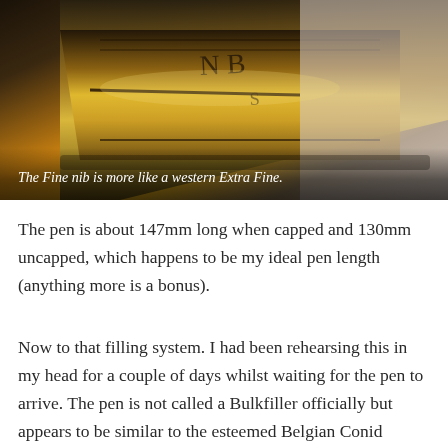[Figure (photo): Close-up macro photograph of a fountain pen nib, golden/brass colored with engraved markings, against a light background. The nib fills most of the frame showing fine detail of the tines and engraving.]
The Fine nib is more like a western Extra Fine.
The pen is about 147mm long when capped and 130mm uncapped, which happens to be my ideal pen length (anything more is a bonus).
Now to that filling system. I had been rehearsing this in my head for a couple of days whilst waiting for the pen to arrive. The pen is not called a Bulkfiller officially but appears to be similar to the esteemed Belgian Conid system (although I have never owned one). The idea is that it has a plunger, filling the barrel with ink, rather like a piston filler but without